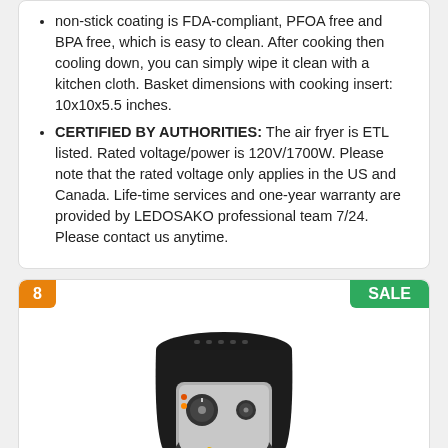non-stick coating is FDA-compliant, PFOA free and BPA free, which is easy to clean. After cooking then cooling down, you can simply wipe it clean with a kitchen cloth. Basket dimensions with cooking insert: 10x10x5.5 inches.
CERTIFIED BY AUTHORITIES: The air fryer is ETL listed. Rated voltage/power is 120V/1700W. Please note that the rated voltage only applies in the US and Canada. Life-time services and one-year warranty are provided by LEDOSAKO professional team 7/24. Please contact us anytime.
[Figure (photo): Product listing card showing an air fryer (black with silver panel) with an open basket containing french fries. Orange badge with number 8 in top left, green SALE badge in top right.]